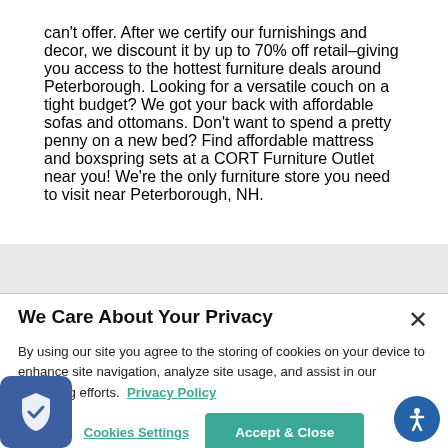can't offer. After we certify our furnishings and decor, we discount it by up to 70% off retail–giving you access to the hottest furniture deals around Peterborough. Looking for a versatile couch on a tight budget? We got your back with affordable sofas and ottomans. Don't want to spend a pretty penny on a new bed? Find affordable mattress and boxspring sets at a CORT Furniture Outlet near you! We're the only furniture store you need to visit near Peterborough, NH.
We Care About Your Privacy
By using our site you agree to the storing of cookies on your device to enhance site navigation, analyze site usage, and assist in our marketing efforts.  Privacy Policy
Cookies Settings
Accept & Close